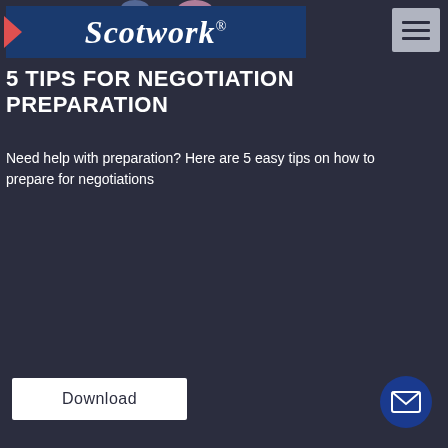[Figure (logo): Scotwork logo on dark blue banner, with hamburger menu button top right and partial illustration top center]
5 TIPS FOR NEGOTIATION PREPARATION
Need help with preparation? Here are 5 easy tips on how to prepare for negotiations
[Figure (illustration): White Download button rectangle]
[Figure (illustration): Book cover: salmon/peach background with Scotwork tag, title '10 Negotiation Dilemmas' and illustration of people around a large question mark with trees]